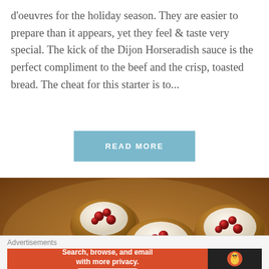d'oeuvres for the holiday season. They are easier to prepare than it appears, yet they feel & taste very special. The kick of the Dijon Horseradish sauce is the perfect compliment to the beef and the crisp, toasted bread. The cheat for this starter is to...
READ MORE
[Figure (photo): Close-up photo of small phyllo cup appetizers filled with white cream cheese and red cranberry topping, arranged on a tray]
Advertisements
[Figure (screenshot): DuckDuckGo advertisement banner with orange background on left reading 'Search, browse, and email with more privacy. All in One Free App' and dark background on right with DuckDuckGo logo]